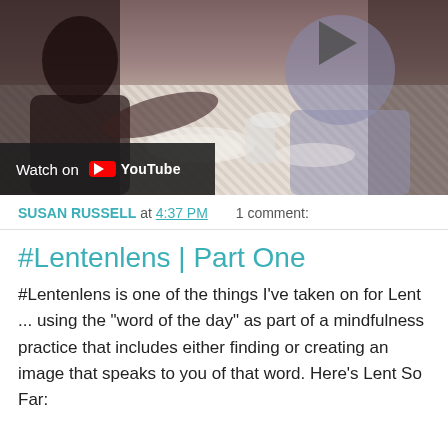[Figure (screenshot): YouTube video thumbnail showing people seated at a table with a lace tablecloth, with a YouTube play button overlay and 'Watch on YouTube' label at bottom left.]
SUSAN RUSSELL at 4:37 PM   1 comment:
#Lentenlens | Part One
#Lentenlens is one of the things I've taken on for Lent ... using the "word of the day" as part of a mindfulness practice that includes either finding or creating an image that speaks to you of that word. Here's Lent So Far: